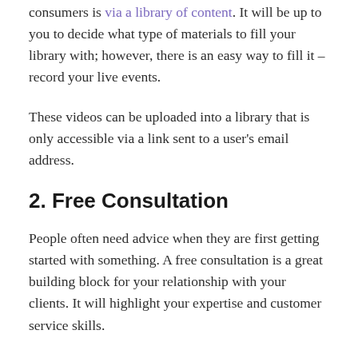consumers is via a library of content. It will be up to you to decide what type of materials to fill your library with; however, there is an easy way to fill it – record your live events.
These videos can be uploaded into a library that is only accessible via a link sent to a user's email address.
2. Free Consultation
People often need advice when they are first getting started with something. A free consultation is a great building block for your relationship with your clients. It will highlight your expertise and customer service skills.
What's more, you will get to know your audience